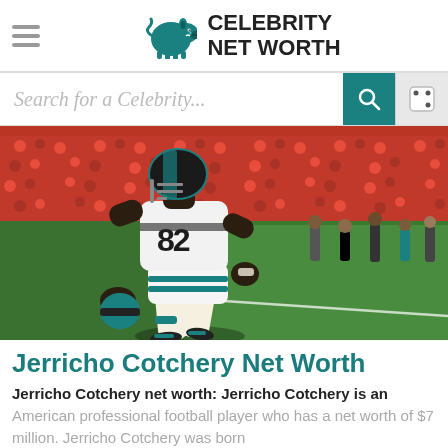Celebrity Net Worth
Search for a Celebrity...
[Figure (photo): Jerricho Cotchery wearing Carolina Panthers jersey number 82, jogging on the field with a football stadium full of red-shirted fans in the background]
Jerricho Cotchery Net Worth
Jerricho Cotchery net worth: Jerricho Cotchery is an
American professional football player who has a net worth of $7 million. Jerricho Cotchery was born